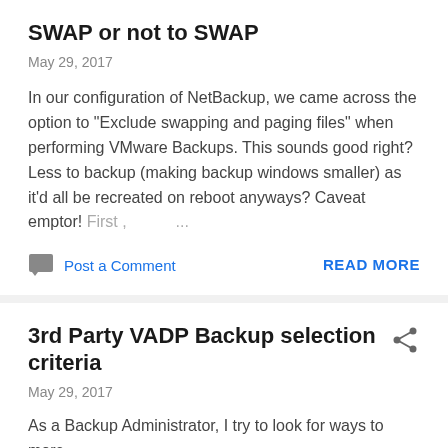SWAP or not to SWAP
May 29, 2017
In our configuration of NetBackup, we came across the option to "Exclude swapping and paging files" when performing VMware Backups. This sounds good right? Less to backup (making backup windows smaller) as it'd all be recreated on reboot anyways? Caveat emptor! First , ...
Post a Comment
READ MORE
3rd Party VADP Backup selection criteria
May 29, 2017
As a Backup Administrator, I try to look for ways to more